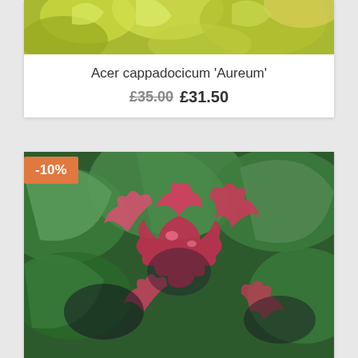[Figure (photo): Partial top view of a plant product card showing yellow-green autumn maple leaves]
Acer cappadocicum 'Aureum'
£35.00 £31.50
-10%
[Figure (photo): Close-up photo of Acer cappadocicum 'Rubrum' showing vibrant pink-red maple leaves against green foliage]
Acer cappadocicum 'Rubrum'
£38.00 £34.20